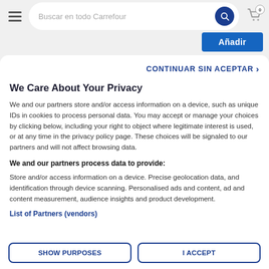Buscar en todo Carrefour
Añadir
CONTINUAR SIN ACEPTAR >
We Care About Your Privacy
We and our partners store and/or access information on a device, such as unique IDs in cookies to process personal data. You may accept or manage your choices by clicking below, including your right to object where legitimate interest is used, or at any time in the privacy policy page. These choices will be signaled to our partners and will not affect browsing data.
We and our partners process data to provide:
Store and/or access information on a device. Precise geolocation data, and identification through device scanning. Personalised ads and content, ad and content measurement, audience insights and product development.
List of Partners (vendors)
SHOW PURPOSES
I ACCEPT